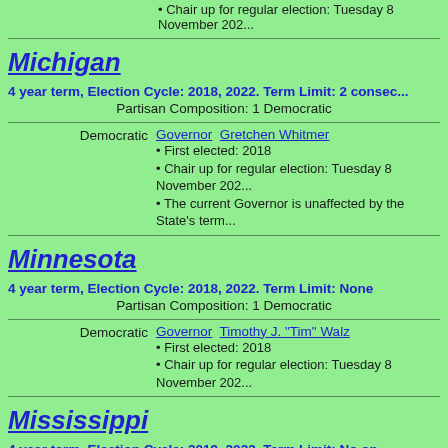• Chair up for regular election: Tuesday 8 November 202...
Michigan   4 year term, Election Cycle: 2018, 2022. Term Limit: 2 consec...
Partisan Composition: 1 Democratic
Democratic   Governor  Gretchen Whitmer
• First elected: 2018
• Chair up for regular election: Tuesday 8 November 202...
• The current Governor is unaffected by the State's term...
Minnesota   4 year term, Election Cycle: 2018, 2022. Term Limit: None
Partisan Composition: 1 Democratic
Democratic   Governor  Timothy J. "Tim" Walz
• First elected: 2018
• Chair up for regular election: Tuesday 8 November 202...
Mississippi   4 year term, Election Cycle: 2019, 2023. Term Limit: No on... than 2 4-year terms in a lifetime
Partisan Composition: 1 Republican
Republican   Governor  Tate Reeves
• First elected: 2019.
• Chair up for regular election: Tuesday 7 November 202...
• The current Governor is unaffected by the State's term...